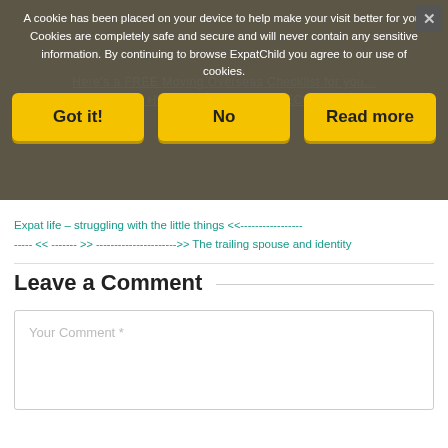A cookie has been placed on your device to help make your visit better for you. Cookies are completely safe and secure and will never contain any sensitive information. By continuing to browse ExpatChild you agree to our use of cookies.
Got it! | No | Read more
Expat life – struggling with the little things <<--------------------- << ------- >> ---------------------->> The trailing spouse and identity
Leave a Comment
Your Comment *